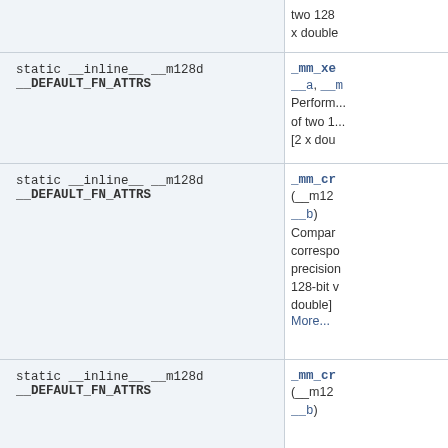| Signature | Description |
| --- | --- |
| (partial row) static __inline__ __m128d __DEFAULT_FN_ATTRS _mm_x... | two 128
x double |
| static __inline__ __m128d __DEFAULT_FN_ATTRS _mm_xe...(  __a, __m...) | Perform...
of two 1...
[2 x dou |
| static __inline__ __m128d __DEFAULT_FN_ATTRS _mm_cr...(  (__m128... __b) | Compar
correspo
precision
128-bit v
double]
More... |
| static __inline__ __m128d __DEFAULT_FN_ATTRS _mm_cr...(  (__m128... __b) |  |